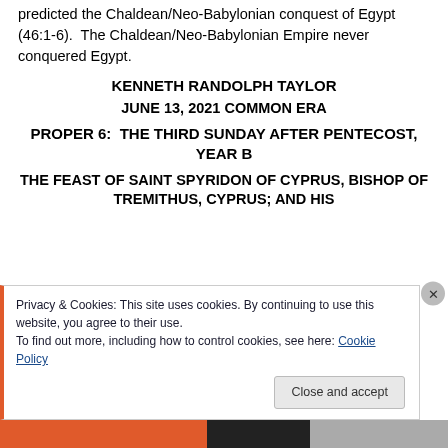predicted the Chaldean/Neo-Babylonian conquest of Egypt (46:1-6). The Chaldean/Neo-Babylonian Empire never conquered Egypt.
KENNETH RANDOLPH TAYLOR
JUNE 13, 2021 COMMON ERA
PROPER 6: THE THIRD SUNDAY AFTER PENTECOST, YEAR B
THE FEAST OF SAINT SPYRIDON OF CYPRUS, BISHOP OF TREMITHUS, CYPRUS; AND HIS
Privacy & Cookies: This site uses cookies. By continuing to use this website, you agree to their use.
To find out more, including how to control cookies, see here: Cookie Policy
Close and accept